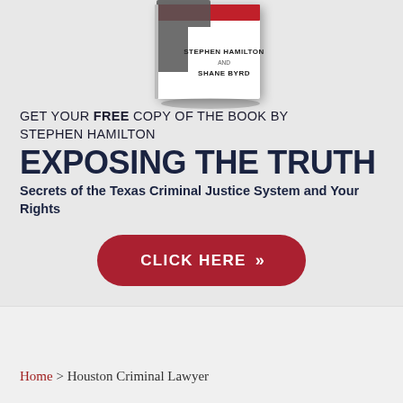[Figure (illustration): Book cover showing a person with hands behind their back possibly handcuffed, with text 'STEPHEN HAMILTON AND SHANE BYRD' on a white book cover with red top accent]
GET YOUR FREE COPY OF THE BOOK BY STEPHEN HAMILTON
EXPOSING THE TRUTH
Secrets of the Texas Criminal Justice System and Your Rights
CLICK HERE >>
Home > Houston Criminal Lawyer